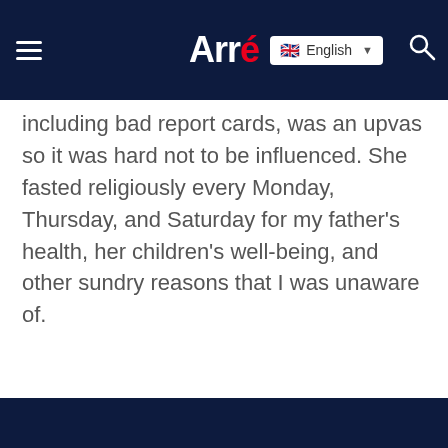[Figure (logo): Arré website navigation bar with hamburger menu, Arré logo in white with red accent, English language selector, and search icon on dark navy background]
including bad report cards, was an upvas so it was hard not to be influenced. She fasted religiously every Monday, Thursday, and Saturday for my father's health, her children's well-being, and other sundry reasons that I was unaware of.